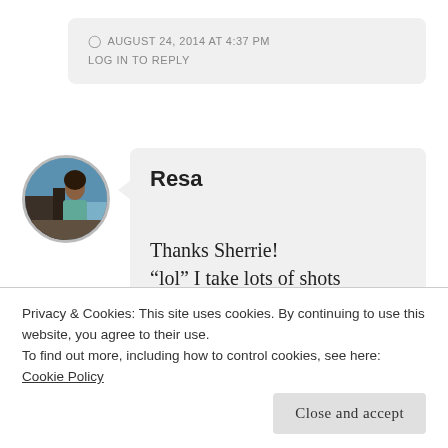AUGUST 24, 2014 AT 4:37 PM
LOG IN TO REPLY
Resa
Thanks Sherrie! “lol” I take lots of shots
Privacy & Cookies: This site uses cookies. By continuing to use this website, you agree to their use. To find out more, including how to control cookies, see here: Cookie Policy
Close and accept
LOG IN TO REPLY